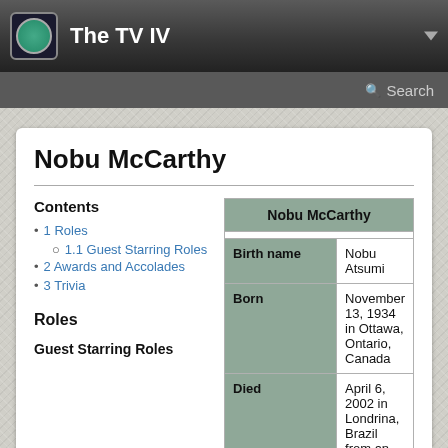The TV IV
Nobu McCarthy
Contents
1 Roles
1.1 Guest Starring Roles
2 Awards and Accolades
3 Trivia
Roles
Guest Starring Roles
|  | Nobu McCarthy |
| --- | --- |
| Birth name | Nobu Atsumi |
| Born | November 13, 1934 in Ottawa, Ontario, Canada |
| Died | April 6, 2002 in Londrina, Brazil from an aortic aneurysm |
| Notable Roles |  |
| Notable Episodes |  |
| Awards |  |